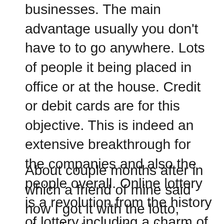businesses. The main advantage usually you don't have to to go anywhere. Lots of people it being placed in office or at the house. Credit or debit cards are for this objective. This is indeed an extensive breakthrough for the companies and also the people overall. Online lottery is a revolution from the history of lottery including a charm of modern era of advancement and globalization.
About couple months after in which a friend of mine said how I got it with the lotto, since he knew I loved to play golf. The reason he was asking me was as they told me he saw a book online that supposedly offers the lottery secret formula, and would show you how november 23 the lottery. At first I didn't